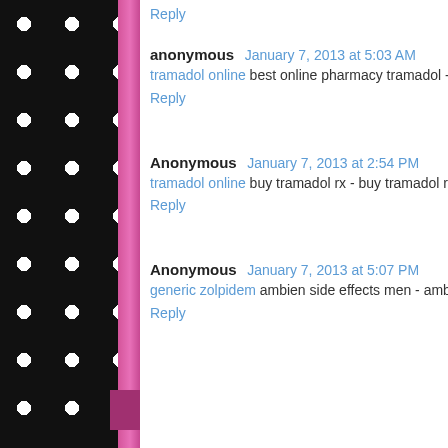Reply
anonymous January 7, 2013 at 5:03 AM
tramadol online best online pharmacy tramadol - tramadol over the counter
Reply
Anonymous January 7, 2013 at 2:54 PM
tramadol online buy tramadol rx - buy tramadol reviews
Reply
Anonymous January 7, 2013 at 5:07 PM
generic zolpidem ambien side effects men - ambien time release
Reply